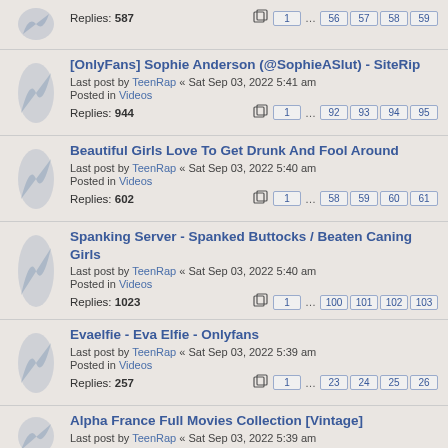Replies: 587 | Pages: 1 ... 56 57 58 59
[OnlyFans] Sophie Anderson (@SophieASlut) - SiteRip | Last post by TeenRap « Sat Sep 03, 2022 5:41 am | Posted in Videos | Replies: 944 | Pages: 1 ... 92 93 94 95
Beautiful Girls Love To Get Drunk And Fool Around | Last post by TeenRap « Sat Sep 03, 2022 5:40 am | Posted in Videos | Replies: 602 | Pages: 1 ... 58 59 60 61
Spanking Server - Spanked Buttocks / Beaten Caning Girls | Last post by TeenRap « Sat Sep 03, 2022 5:40 am | Posted in Videos | Replies: 1023 | Pages: 1 ... 100 101 102 103
Evaelfie - Eva Elfie - Onlyfans | Last post by TeenRap « Sat Sep 03, 2022 5:39 am | Posted in Videos | Replies: 257 | Pages: 1 ... 23 24 25 26
Alpha France Full Movies Collection [Vintage] | Last post by TeenRap « Sat Sep 03, 2022 5:39 am